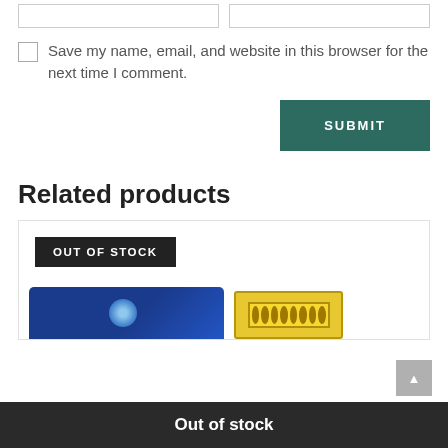Save my name, email, and website in this browser for the next time I comment.
SUBMIT
Related products
OUT OF STOCK
Out of stock